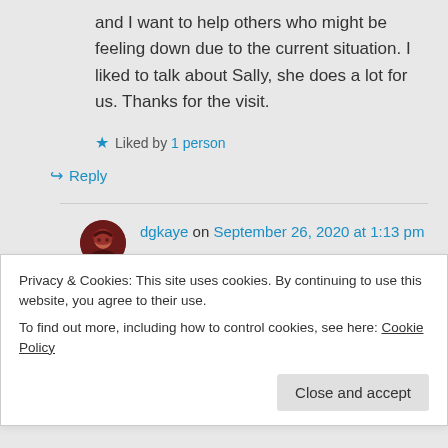and I want to help others who might be feeling down due to the current situation. I liked to talk about Sally, she does a lot for us. Thanks for the visit.
★ Liked by 1 person
↪ Reply
dgkaye on September 26, 2020 at 1:13 pm
Privacy & Cookies: This site uses cookies. By continuing to use this website, you agree to their use.
To find out more, including how to control cookies, see here: Cookie Policy